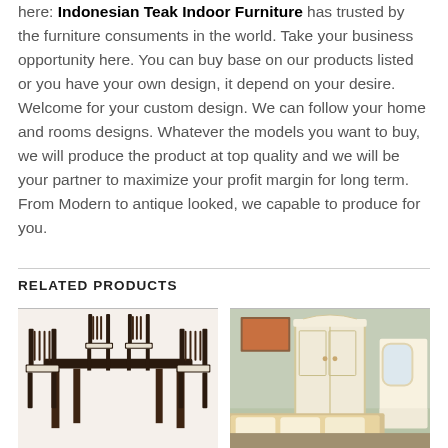here. Indonesian Teak Indoor Furniture has trusted by the furniture consuments in the world. Take your business opportunity here. You can buy base on our products listed or you have your own design, it depend on your desire. Welcome for your custom design. We can follow your home and rooms designs. Whatever the models you want to buy, we will produce the product at top quality and we will be your partner to maximize your profit margin for long term. From Modern to antique looked, we capable to produce for you.
RELATED PRODUCTS
[Figure (photo): Dark wood dining table set with chairs having slatted backs and white seat cushions]
[Figure (photo): White ornate bedroom furniture set including wardrobe, bed, and vanity mirror with decorative carvings]